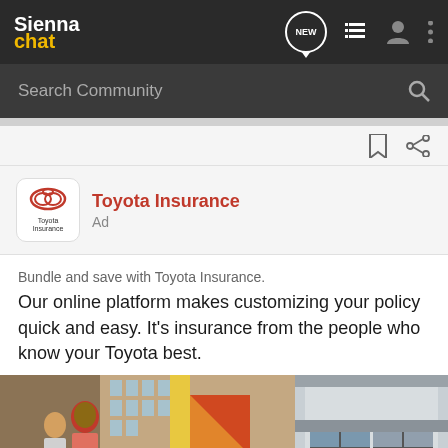Sienna chat
Search Community
Toyota Insurance
Ad
Bundle and save with Toyota Insurance.
Our online platform makes customizing your policy quick and easy. It's insurance from the people who know your Toyota best.
[Figure (photo): Street scene with two people in colorful urban setting alongside a building exterior photo]